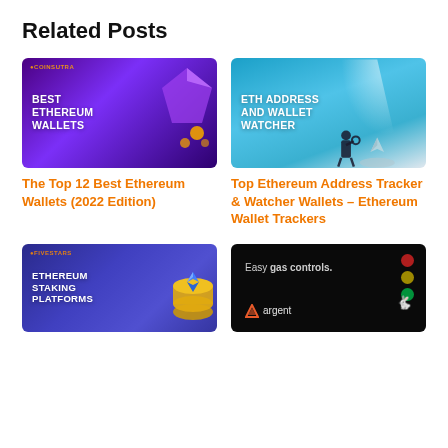Related Posts
[Figure (illustration): Dark purple background with 'BEST ETHEREUM WALLETS' text in white, decorative wallet and coin graphic on right, CoinSutra logo top-left]
[Figure (illustration): Blue/teal background with spotlight shining on Ethereum logo on floor, person looking through magnifying glass, text 'ETH ADDRESS AND WALLET WATCHER' in white]
The Top 12 Best Ethereum Wallets (2022 Edition)
Top Ethereum Address Tracker & Watcher Wallets – Ethereum Wallet Trackers
[Figure (illustration): Dark blue/purple background with 'ETHEREUM STAKING PLATFORMS' text in white, gold Ethereum coin graphic on right, logo top-left]
[Figure (illustration): Black background with 'Easy gas controls.' text, Argent logo at bottom left, traffic light icons on right, yellow rabbit icon]